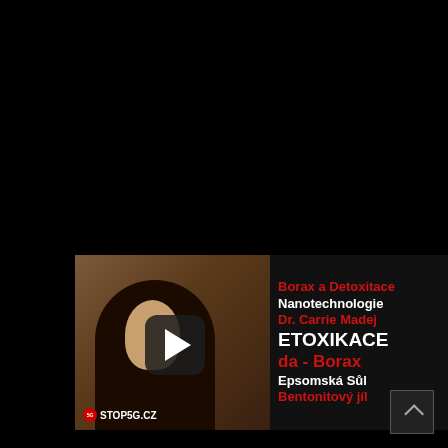[Figure (screenshot): Video thumbnail showing a blonde woman in a dark jacket on the left side, with a dark background. On the right side, red and white bold text lists: 'Borax a Detoxitace', 'Nanotechnologie', 'Dr. Carrie Madej', 'ETOXIKACE', 'da - Borax', 'Epsomská Sůl', 'Bentonitový jíl'. A play button overlay is in the center. Watermark '5GSTOP5G.CZ' in bottom-left corner. A scroll-to-top button is in the bottom-right of the page.]